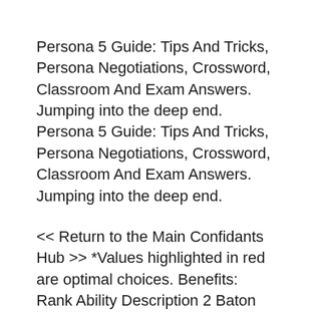Persona 5 Guide: Tips And Tricks, Persona Negotiations, Crossword, Classroom And Exam Answers. Jumping into the deep end. Persona 5 Guide: Tips And Tricks, Persona Negotiations, Crossword, Classroom And Exam Answers. Jumping into the deep end.
<< Return to the Main Confidants Hub >> *Values highlighted in red are optimal choices. Benefits: Rank Ability Description 2 Baton Pass Allows you to pass your turn over to other Baton Pass users Persona 5 bring back negotiations with other enemies Persona, which can be a tricky process since you need to answer a variety of questions in order to